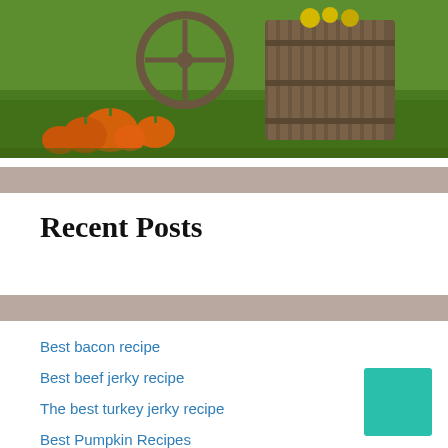[Figure (photo): Outdoor autumn scene with orange pumpkins on green grass and a large wooden barrel/planter structure, with yellow flowers visible]
Recent Posts
Best bacon recipe
Best beef jerky recipe
The best turkey jerky recipe
Best Pumpkin Recipes
Dehydrated Beet Chips Recipe: The best and fastest